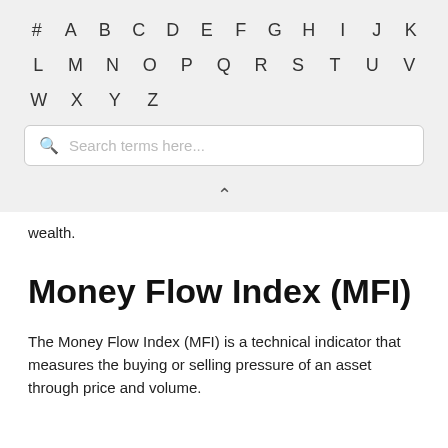# A B C D E F G H I J K L M N O P Q R S T U V W X Y Z
Search terms here...
wealth.
Money Flow Index (MFI)
The Money Flow Index (MFI) is a technical indicator that measures the buying or selling pressure of an asset through price and volume.